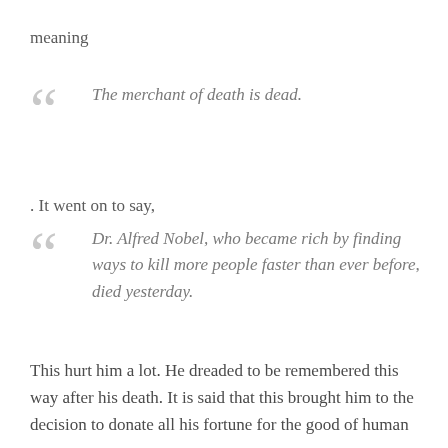meaning
The merchant of death is dead.
. It went on to say,
Dr. Alfred Nobel, who became rich by finding ways to kill more people faster than ever before, died yesterday.
This hurt him a lot. He dreaded to be remembered this way after his death. It is said that this brought him to the decision to donate all his fortune for the good of human race.